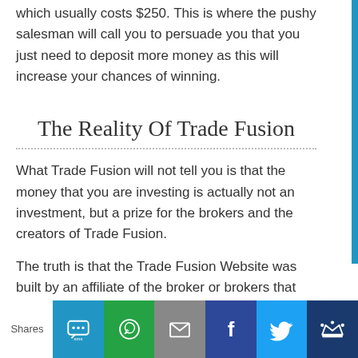which usually costs $250. This is where the pushy salesman will call you to persuade you that you just need to deposit more money as this will increase your chances of winning.
The Reality Of Trade Fusion
What Trade Fusion will not tell you is that the money that you are investing is actually not an investment, but a prize for the brokers and the creators of Trade Fusion.
The truth is that the Trade Fusion Website was built by an affiliate of the broker or brokers that are recommended. When anyone signs up and deposits money into the